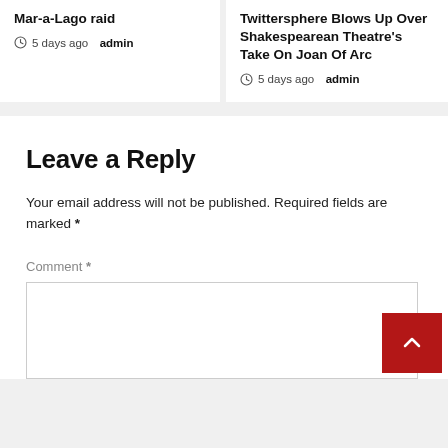Mar-a-Lago raid
5 days ago  admin
Twittersphere Blows Up Over Shakespearean Theatre's Take On Joan Of Arc
5 days ago  admin
Leave a Reply
Your email address will not be published. Required fields are marked *
Comment *